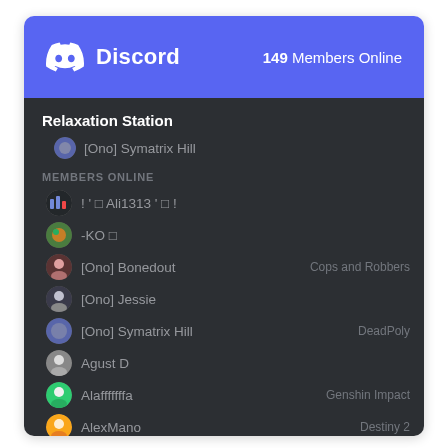Discord — 149 Members Online
Relaxation Station
[Ono] Symatrix Hill
MEMBERS ONLINE
! ' □ Ali1313 ' □ !
-KO □
[Ono] Bonedout — Cops and Robbers
[Ono] Jessie
[Ono] Symatrix Hill — DeadPoly
Agust D
Alafffffffa — Genshin Impact
AlexMano — Destiny 2
Andi Ioan
Artorias